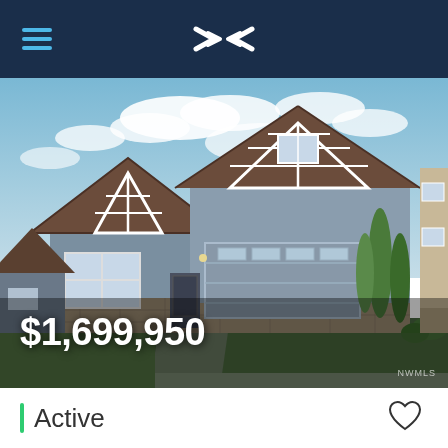Windermere Real Estate app header with logo and hamburger menu
[Figure (photo): Exterior photo of a large two-story craftsman-style home with gray board-and-batten siding, white trim, brown roof, stone accents, two-car garage, driveway, and landscaping with tall evergreen trees. Blue sky with clouds in background.]
$1,699,950
Active